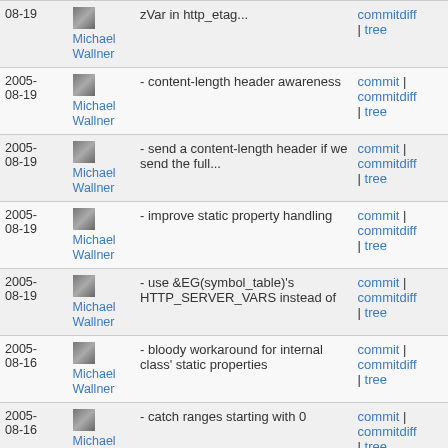| Date | Author | Commit message | Links |
| --- | --- | --- | --- |
| 2005-08-19 | Michael Wallner | - content-length header awareness | commit | commitdiff | tree |
| 2005-08-19 | Michael Wallner | - send a content-length header if we send the full... | commit | commitdiff | tree |
| 2005-08-19 | Michael Wallner | - improve static property handling | commit | commitdiff | tree |
| 2005-08-19 | Michael Wallner | - use &EG(symbol_table)'s HTTP_SERVER_VARS instead of | commit | commitdiff | tree |
| 2005-08-16 | Michael Wallner | - bloody workaround for internal class' static properties | commit | commitdiff | tree |
| 2005-08-16 | Michael Wallner | - catch ranges starting with 0 | commit | commitdiff | tree |